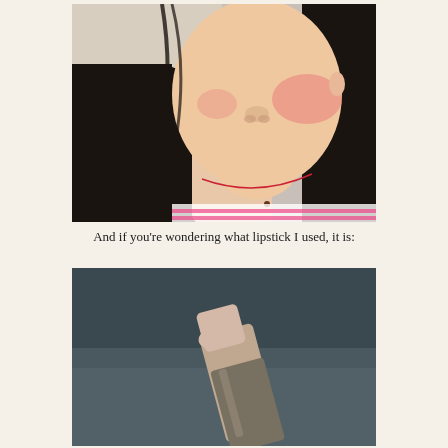[Figure (photo): Close-up photo of a young Asian woman's face and neck, showing her cheek, lips with light pink/nude lipstick, dark hair, and a small mole on her chest. She is wearing a white and pink striped top with a red string necklace.]
And if you're wondering what lipstick I used, it is:
[Figure (photo): Close-up photo of a lipstick product with a nude/light pink shade, shown tilted against a dark blurred background.]